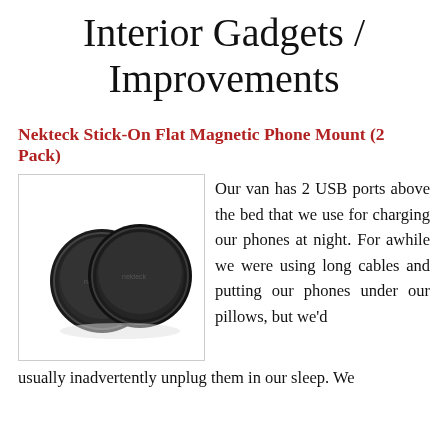Interior Gadgets / Improvements
Nekteck Stick-On Flat Magnetic Phone Mount (2 Pack)
[Figure (photo): Two black circular flat magnetic phone mounts (Nekteck brand) shown on white background]
Our van has 2 USB ports above the bed that we use for charging our phones at night. For awhile we were using long cables and putting our phones under our pillows, but we'd usually inadvertently unplug them in our sleep. We